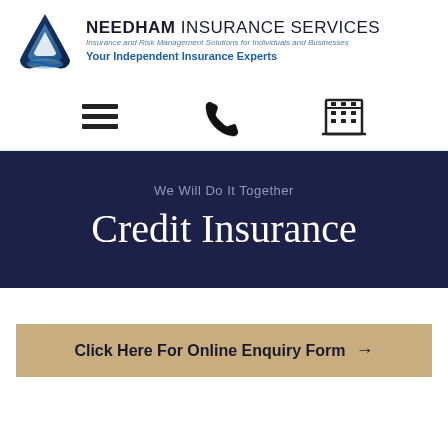[Figure (logo): Needham Insurance Services logo with blue triangular shield icon, company name in bold dark text, italic tagline 'Insurance and Risk Management Solutions for Individuals and Businesses', and bold blue subtitle 'Your Independent Insurance Experts']
[Figure (infographic): Three navigation icons: hamburger menu (three lines), telephone handset, and office building]
Credit Insurance
We Will Do It Together
Click Here For Online Enquiry Form →